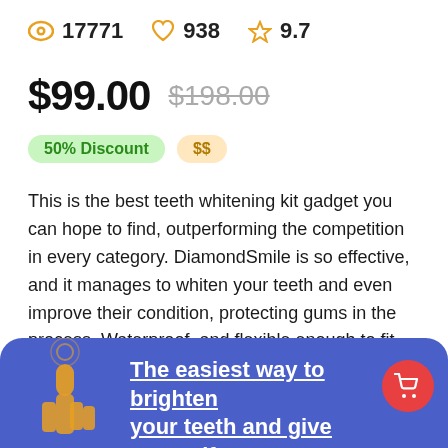👁 17771  ♡ 938  ☆ 9.7
$99.00  $198.00
50% Discount  $$
This is the best teeth whitening kit gadget you can hope to find, outperforming the competition in every category. DiamondSmile is so effective, and it manages to whiten your teeth and even improve their condition, protecting gums in the process. Waterproof, and flexible enough to fit any mouth, DiamondSmile does not require batteries, just using LED technology and a 16 minute-timer to give your teeth a lasting whiteness and shine that you cannot get anywhere else.
The easiest way to brighten your teeth and give yourself